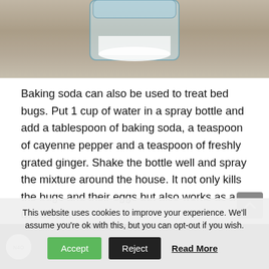[Figure (photo): Photo of a glass jar with white powder (baking soda) on a granite or stone countertop surface]
Baking soda can also be used to treat bed bugs. Put 1 cup of water in a spray bottle and add a tablespoon of baking soda, a teaspoon of cayenne pepper and a teaspoon of freshly grated ginger. Shake the bottle well and spray the mixture around the house. It not only kills the bugs and their eggs but also works as a deodorant.
[Figure (screenshot): Dark video bar with a circular logo at the bottom of the page]
This website uses cookies to improve your experience. We'll assume you're ok with this, but you can opt-out if you wish.